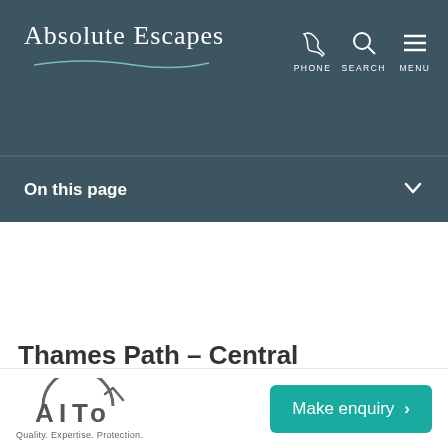Absolute Escapes — navigation header with phone, search, and menu icons
On this page
Thames Path – Central
From £950 pp
[Figure (logo): AITO logo with text Quality. Expertise. Protection.]
Make enquiry >